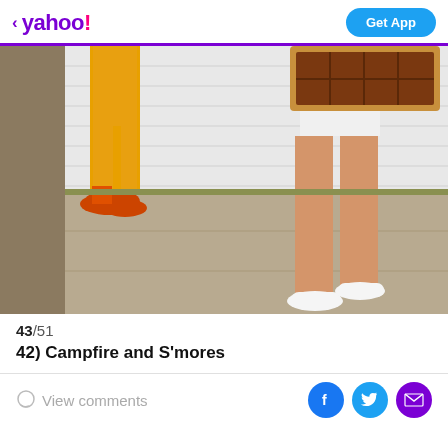< yahoo! | Get App
[Figure (photo): Two people standing on a sidewalk against a white brick wall. Left person wears yellow/orange pants with orange Vans sneakers. Right person wears white shorts and white slip-on shoes, holding a cardboard chocolate bar prop above their waist.]
43/51
42) Campfire and S'mores
View comments